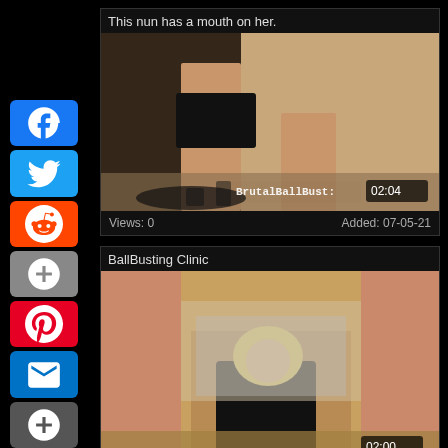[Figure (other): Facebook share button]
[Figure (other): Twitter share button]
[Figure (other): Reddit share button]
[Figure (other): Google Plus share button]
[Figure (other): Pinterest share button]
[Figure (other): Email share button]
[Figure (other): More share button]
This nun has a mouth on her.
[Figure (photo): Video thumbnail showing woman in black dress and heels, duration 02:04, watermark BrutalBallBust:]
Views: 0   Added: 07-05-21
BallBusting Clinic
[Figure (photo): Video thumbnail showing blonde woman in black outfit, duration 02:00, watermark BrutalBallBust:]